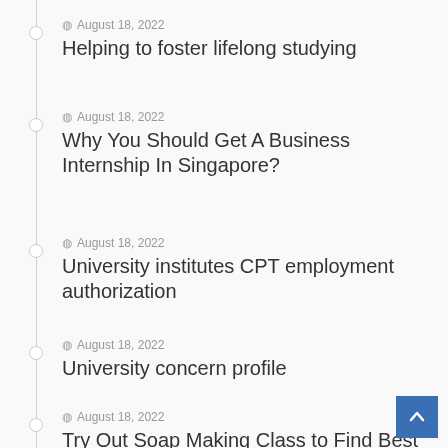August 18, 2022 — Helping to foster lifelong studying
August 18, 2022 — Why You Should Get A Business Internship In Singapore?
August 18, 2022 — University institutes CPT employment authorization
August 18, 2022 — University concern profile
August 18, 2022 — Try Out Soap Making Class to Find Best Ways to Make Soap At Home